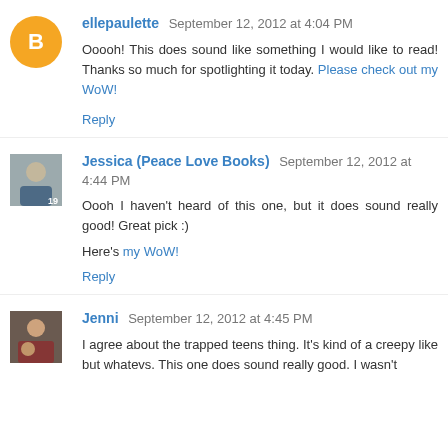ellepaulette  September 12, 2012 at 4:04 PM
Ooooh! This does sound like something I would like to read! Thanks so much for spotlighting it today. Please check out my WoW!
Reply
Jessica (Peace Love Books)  September 12, 2012 at 4:44 PM
Oooh I haven't heard of this one, but it does sound really good! Great pick :)
Here's my WoW!
Reply
Jenni  September 12, 2012 at 4:45 PM
I agree about the trapped teens thing. It's kind of a creepy like but whatevs. This one does sound really good. I wasn't